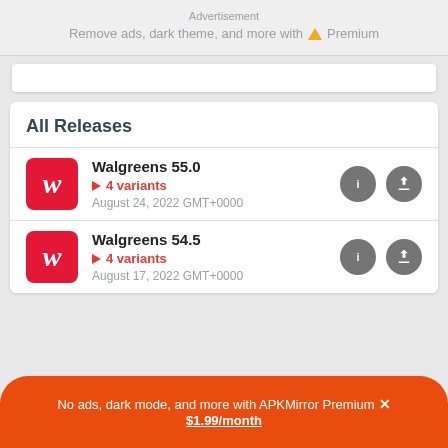Advertisement
Remove ads, dark theme, and more with  Premium
All Releases
Walgreens 55.0 · 4 variants · August 24, 2022 GMT+0000
Walgreens 54.5 · 4 variants · August 17, 2022 GMT+0000
No ads, dark mode, and more with APKMirror Premium ✕ $1.99/month